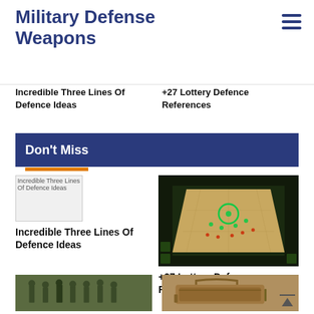Military Defense Weapons
Incredible Three Lines Of Defence Ideas
+27 Lottery Defence References
Don't Miss
[Figure (photo): Broken image placeholder for Incredible Three Lines Of Defence Ideas]
Incredible Three Lines Of Defence Ideas
[Figure (screenshot): Top-down video game screenshot showing military strategy game with units on a desert/sand map with green interface elements]
+27 Lottery Defence References
[Figure (photo): Group of military personnel in camouflage uniforms walking together]
[Figure (photo): Tan/khaki military tactical bag or duffel bag]